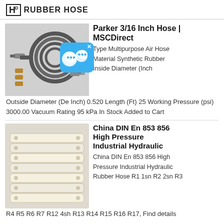HD RUBBER HOSE
Parker 3/16 Inch Hose | MSCDirect
[Figure (photo): Coiled black rubber hose with brass fittings and connectors]
Type Multipurpose Air Hose Material Synthetic Rubber Inside Diameter (Inch Outside Diameter (De Inch) 0.520 Length (Ft) 25 Working Pressure (psi) 3000.00 Vacuum Rating 95 kPa In Stock Added to Cart
China DIN En 853 856 High Pressure Industrial Hydraulic
[Figure (photo): Layered white/cream hydraulic rubber hoses stacked together]
China DIN En 853 856 High Pressure Industrial Hydraulic Rubber Hose R1 1sn R2 2sn R3 R4 R5 R6 R7 R12 4sh R13 R14 R15 R16 R17, Find details